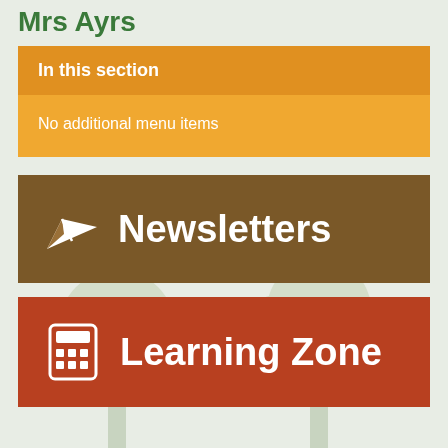Mrs Ayrs
In this section
No additional menu items
[Figure (infographic): Brown banner with paper airplane icon and text 'Newsletters']
[Figure (infographic): Red-brown banner with calculator icon and text 'Learning Zone']